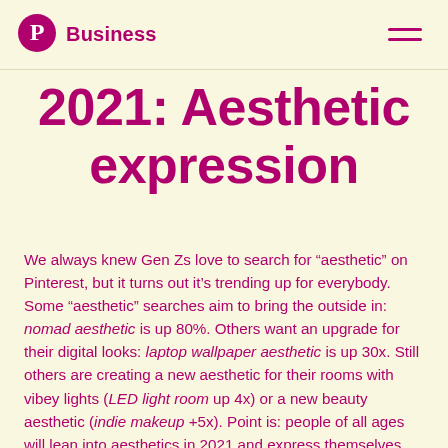Pinterest Business
2021: Aesthetic expression
We always knew Gen Zs love to search for “aesthetic” on Pinterest, but it turns out it’s trending up for everybody. Some “aesthetic” searches aim to bring the outside in: nomad aesthetic is up 80%. Others want an upgrade for their digital looks: laptop wallpaper aesthetic is up 30x. Still others are creating a new aesthetic for their rooms with vibey lights (LED light room up 4x) or a new beauty aesthetic (indie makeup +5x). Point is: people of all ages will lean into aesthetics in 2021 and express themselves through visual identities.